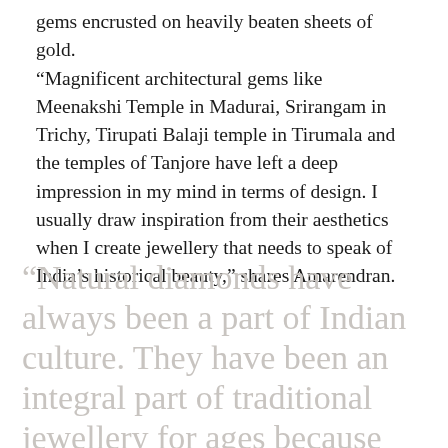gems encrusted on heavily beaten sheets of gold. “Magnificent architectural gems like Meenakshi Temple in Madurai, Srirangam in Trichy, Tirupati Balaji temple in Tirumala and the temples of Tanjore have left a deep impression in my mind in terms of design. I usually draw inspiration from their aesthetics when I create jewellery that needs to speak of India’s historical beauty,” shares Amarendran.
“Natural diamonds have always been a part of Indian culture. They have been an integral part of traditional jewellery for ages because they have this eternal